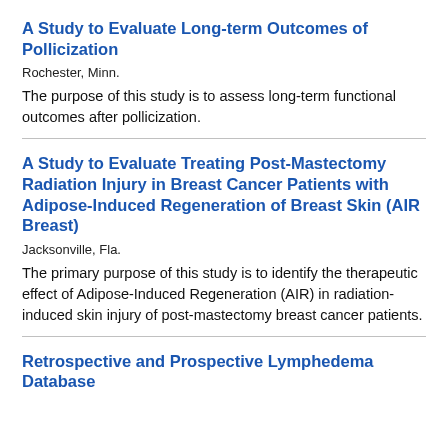A Study to Evaluate Long-term Outcomes of Pollicization
Rochester, Minn.
The purpose of this study is to assess long-term functional outcomes after pollicization.
A Study to Evaluate Treating Post-Mastectomy Radiation Injury in Breast Cancer Patients with Adipose-Induced Regeneration of Breast Skin (AIR Breast)
Jacksonville, Fla.
The primary purpose of this study is to identify the therapeutic effect of Adipose-Induced Regeneration (AIR) in radiation-induced skin injury of post-mastectomy breast cancer patients.
Retrospective and Prospective Lymphedema Database